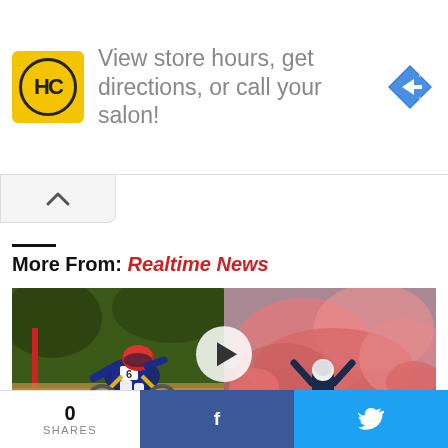[Figure (screenshot): Advertisement banner: HC (Haircutters) logo in yellow square with black circle, text 'View store hours, get directions, or call your salon!' in gray, blue diamond direction arrow icon on right. Small ad indicator triangle and X in top-left corner.]
[Figure (other): Collapse/chevron up button below ad banner]
More From: Realtime News
[Figure (photo): Video thumbnail showing two photos side by side: left is a mountain biker wearing helmet number 6 racing downhill, right shows a person in pink/red smoke with hands raised. A white circular play button overlays the center. Bottom bar shows 'WINNING RUNS' text and a share/upload icon.]
[Figure (other): Bottom social share bar: '0 SHARES' count on left white section, Facebook share button (dark blue with f icon), Twitter share button (light blue with bird icon)]